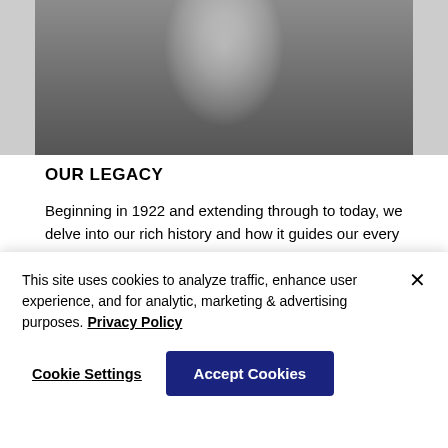[Figure (photo): Black and white photograph of a man in a suit and tie, cropped to show upper body, top portion visible]
OUR LEGACY
Beginning in 1922 and extending through to today, we delve into our rich history and how it guides our every step forwards.
Read more
MY LIFE'S WORK
This site uses cookies to analyze traffic, enhance user experience, and for analytic, marketing & advertising purposes. Privacy Policy
Cookie Settings
Accept Cookies